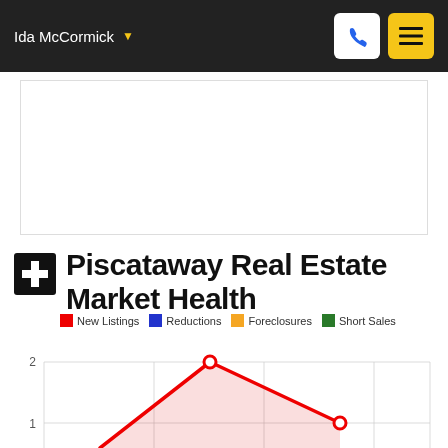Ida McCormick
[Figure (other): Advertisement or image placeholder block (white area)]
Piscataway Real Estate Market Health
New Listings  Reductions  Foreclosures  Short Sales
[Figure (area-chart): Area/line chart showing real estate market health metrics (New Listings, Reductions, Foreclosures, Short Sales). Y-axis visible: 1 and 2. Chart is partially visible — a red line peaks near 2 and descends to about 1.]